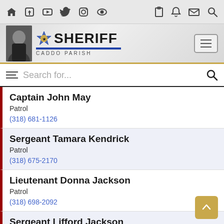Caddo Parish Sheriff website header with navigation icons
[Figure (screenshot): Caddo Parish Sheriff logo with badge star and photo of sheriff]
Search for...
Captain John May
Patrol
(318) 681-1126
Sergeant Tamara Kendrick
Patrol
(318) 675-2170
Lieutenant Donna Jackson
Patrol
(318) 698-2092
Sergeant Lifford Jackson
Patrol
(318) 681-0872